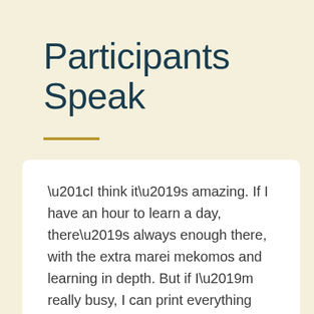Participants Speak
“I think it’s amazing. If I have an hour to learn a day, there’s always enough there, with the extra marei mekomos and learning in depth. But if I’m really busy, I can print everything out and review it on Shabbos. The balance is incredible, and I’m really moving forward. The extra mareh mekomos are like candy, anticipating the shiur is an exciting part of my Shabbos!”